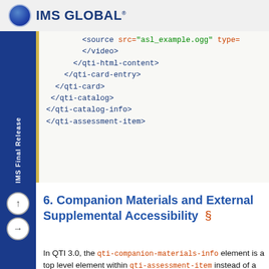IMS GLOBAL
[Figure (screenshot): Code block showing XML closing tags: </video>, </qti-html-content>, </qti-card-entry>, </qti-card>, </qti-catalog>, </qti-catalog-info>, </qti-assessment-item>]
6. Companion Materials and External Supplemental Accessibility §
In QTI 3.0, the qti-companion-materials-info element is a top level element within qti-assessment-item instead of a node within apipAccessibility. Use of the node should be